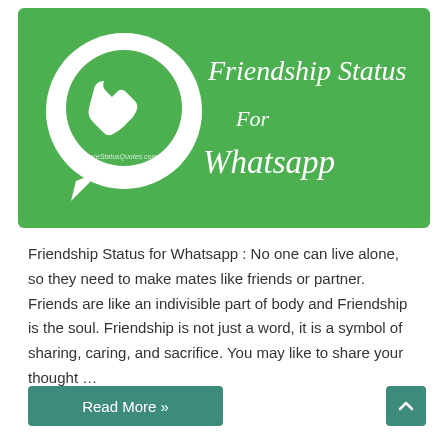[Figure (logo): Green WhatsApp-style banner with WhatsApp logo (speech bubble with phone icon) on the left and text 'Friendship Status For Whatsapp' in white italic font on the right. Watermark 'ShareStatusQuotes.com' on the logo.]
Friendship Status for Whatsapp : No one can live alone, so they need to make mates like friends or partner. Friends are like an indivisible part of body and Friendship is the soul. Friendship is not just a word, it is a symbol of sharing, caring, and sacrifice. You may like to share your thought …
Read More »